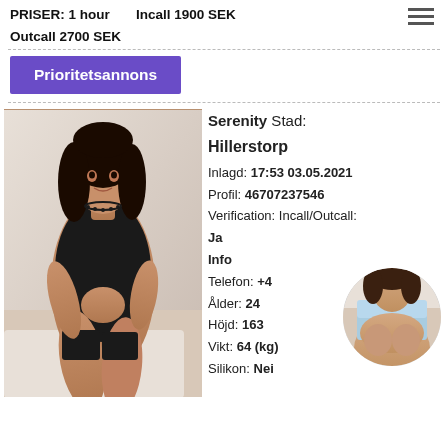PRISER: 1 hour Incall 1900 SEK Outcall 2700 SEK
Prioritetsannons
[Figure (photo): Woman with dark hair in black lingerie posed on white couch]
Serenity Stad: Hillerstorp
Inlagd: 17:53 03.05.2021
Profil: 46707237546
Verification: Incall/Outcall: Ja
Info
Telefon: +4...
Ålder: 24
Höjd: 163
Vikt: 64 (kg)
Silikon: Nei
[Figure (photo): Small circular thumbnail photo of woman in light blue top]